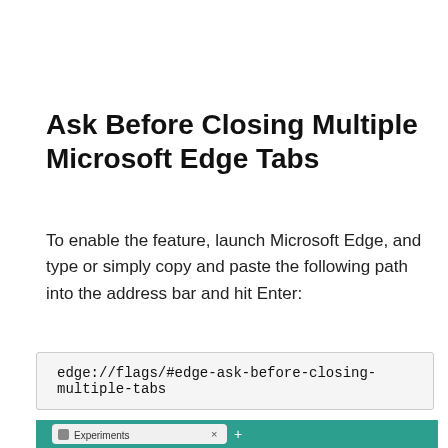Ask Before Closing Multiple Microsoft Edge Tabs
To enable the feature, launch Microsoft Edge, and type or simply copy and paste the following path into the address bar and hit Enter:
edge://flags/#edge-ask-before-closing-multiple-tabs
[Figure (screenshot): Microsoft Edge browser window showing the Experiments tab with the URL edge://flags/#edge-ask-before-closing-multiple-tabs typed in the address bar, and a Search flags search box below.]